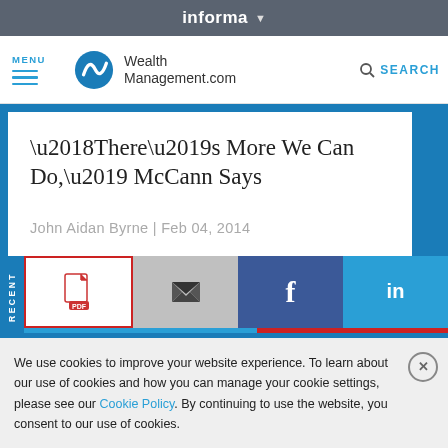informa
[Figure (logo): WealthManagement.com logo with navigation menu and search]
‘There’s More We Can Do,’ McCann Says
John Aidan Byrne | Feb 04, 2014
[Figure (infographic): Social share bar with PDF, email, Facebook, and LinkedIn buttons]
We use cookies to improve your website experience. To learn about our use of cookies and how you can manage your cookie settings, please see our Cookie Policy. By continuing to use the website, you consent to our use of cookies.